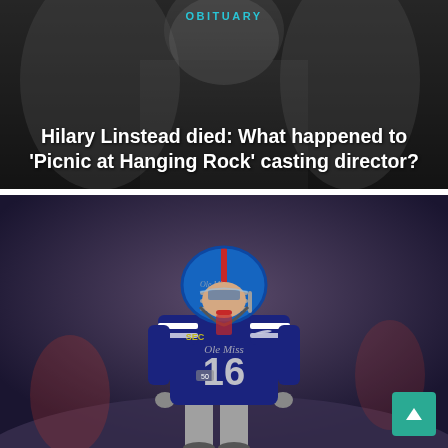[Figure (photo): Top card with dark blurred background showing partial face, obituary label and headline text overlay]
OBITUARY
Hilary Linstead died: What happened to ‘Picnic at Hanging Rock’ casting director?
[Figure (photo): Ole Miss football player #16 in navy blue uniform and blue helmet in a crouched stance on the field]